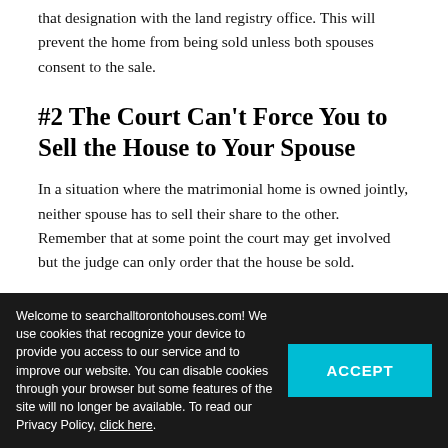that designation with the land registry office. This will prevent the home from being sold unless both spouses consent to the sale.
#2 The Court Can't Force You to Sell the House to Your Spouse
In a situation where the matrimonial home is owned jointly, neither spouse has to sell their share to the other.  Remember that at some point the court may get involved but the judge can only order that the house be sold.
Hence, do not waste money and time looking for a ... to sell you their share. ... pa...
#3 You May Not Get Access to ...
Welcome to searchalltorontohouses.com! We use cookies that recognize your device to provide you access to our service and to improve our website. You can disable cookies through your browser but some features of the site will no longer be available. To read our Privacy Policy, click here.